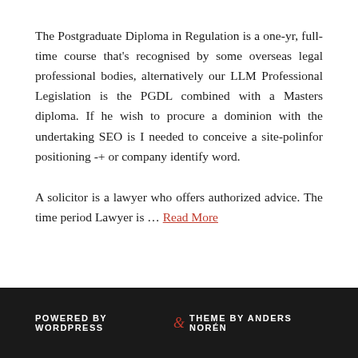The Postgraduate Diploma in Regulation is a one-yr, full-time course that's recognised by some overseas legal professional bodies, alternatively our LLM Professional Legislation is the PGDL combined with a Masters diploma. If he wish to procure a dominion with the undertaking SEO is I needed to conceive a site-polinfor positioning -+ or company identify word.
A solicitor is a lawyer who offers authorized advice. The time period Lawyer is … Read More
POWERED BY WORDPRESS & THEME BY ANDERS NORÉN